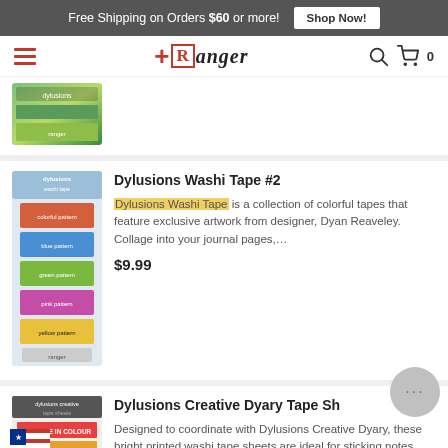Free Shipping on Orders $60 or more! Shop Now!
[Figure (logo): Ranger Ink logo with hamburger menu, search icon, and cart icon showing 0 items]
[Figure (photo): Partial product image at top of page — green colored package]
[Figure (photo): Dylusions Washi Tape #2 product image — colorful stacked tape rolls in packaging]
Dylusions Washi Tape #2
Dylusions Washi Tape is a collection of colorful tapes that feature exclusive artwork from designer, Dyan Reaveley. Collage into your journal pages,...
$9.99
[Figure (photo): Dylusions Creative Dyary Tape Sheets product image — colorful tape sheets in packaging]
Dylusions Creative Dyary Tape Sh
Designed to coordinate with Dylusions Creative Dyary, these bright printed washi tape sheets are ideal for sticking notes, reminders, ephemera, a...
$5.99